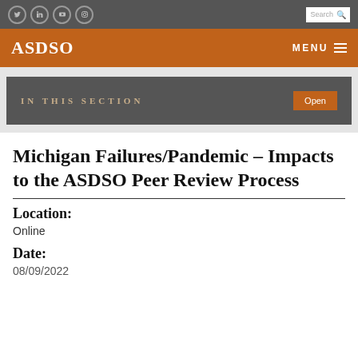ASDSO — MENU
IN THIS SECTION — Open
Michigan Failures/Pandemic – Impacts to the ASDSO Peer Review Process
Location:
Online
Date:
08/09/2022